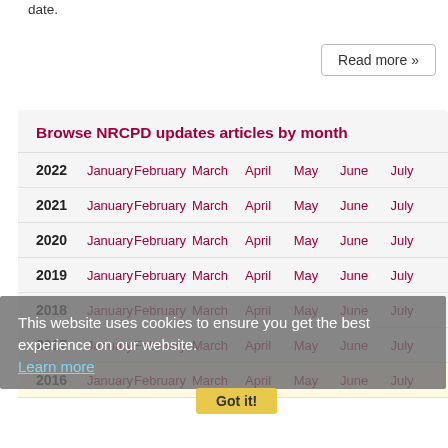date.
Read more »
Browse NRCPD updates articles by month
| Year | Jan | Feb | Mar | Apr | May | Jun | Jul |
| --- | --- | --- | --- | --- | --- | --- | --- |
| 2022 | January | February | March | April | May | June | July |
| 2021 | January | February | March | April | May | June | July |
| 2020 | January | February | March | April | May | June | July |
| 2019 | January | February | March | April | May | June | July |
| 2018 | January | February | March | April | May | June | July |
| 2017 | January | February | March | April | May | June | July |
| 2016 | January | February | March | April | May | June | July |
This website uses cookies to ensure you get the best experience on our website. Learn more
Got it!